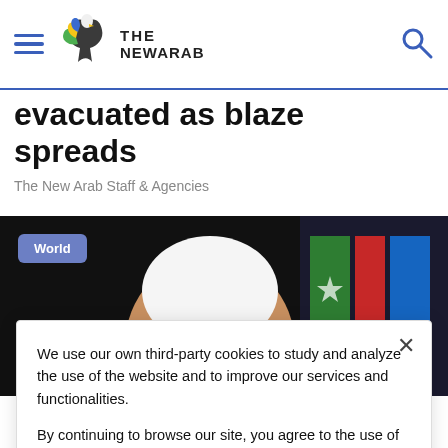The New Arab
evacuated as blaze spreads
The New Arab Staff & Agencies
[Figure (photo): Close-up photograph of a person wearing a white head covering, partially visible, in front of colorful flags. A blue 'World' category tag overlays the top-left corner.]
We use our own third-party cookies to study and analyze the use of the website and to improve our services and functionalities.

By continuing to browse our site, you agree to the use of cookies and our Privacy Policy.
Accept